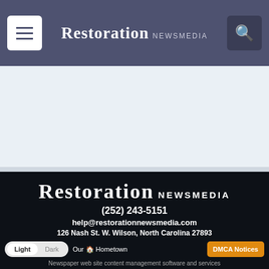RESTORATION NEWSMEDIA
[Figure (screenshot): Light gray content/ad area below the header navigation bar]
RESTORATION NEWSMEDIA
(252) 243-5151
help@restorationnewsmedia.com
126 Nash St. W. Wilson, North Carolina 27893
Light | Dark   Our Hometown   DMCA Notices   Newspaper web site content management software and services